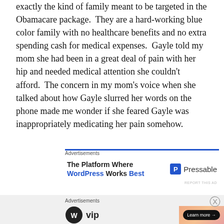exactly the kind of family meant to be targeted in the Obamacare package. They are a hard-working blue color family with no healthcare benefits and no extra spending cash for medical expenses. Gayle told my mom she had been in a great deal of pain with her hip and needed medical attention she couldn't afford. The concern in my mom's voice when she talked about how Gayle slurred her words on the phone made me wonder if she feared Gayle was inappropriately medicating her pain somehow.
[Figure (screenshot): Pressable advertisement: 'The Platform Where WordPress Works Best' with Pressable logo]
[Figure (screenshot): WordPress VIP advertisement with gradient background and Learn more button]